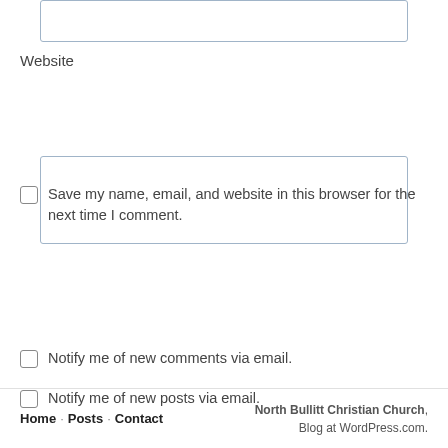[Figure (screenshot): Partial input box at the top of the page (top portion of a form field)]
Website
[Figure (screenshot): Website input text field (empty)]
Save my name, email, and website in this browser for the next time I comment.
[Figure (screenshot): Post Comment button (teal/blue rounded button)]
Notify me of new comments via email.
Notify me of new posts via email.
Home · Posts · Contact    North Bullitt Christian Church, Blog at WordPress.com.